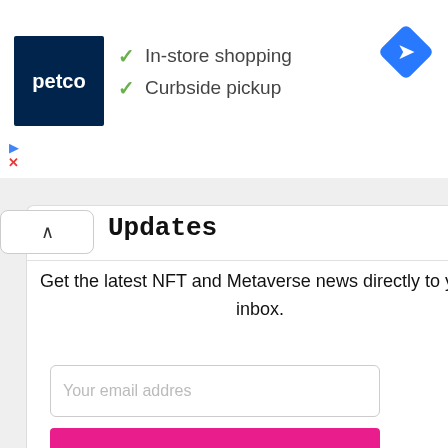[Figure (logo): Petco advertisement banner with blue Petco logo on the left, checkmarks for 'In-store shopping' and 'Curbside pickup', and a blue navigation diamond icon on the right]
Updates
Get the latest NFT and Metaverse news directly to your inbox.
Your email addres
SUBSCRIBE
By signing up, you agree to the our terms and our Privacy Policy agreement.